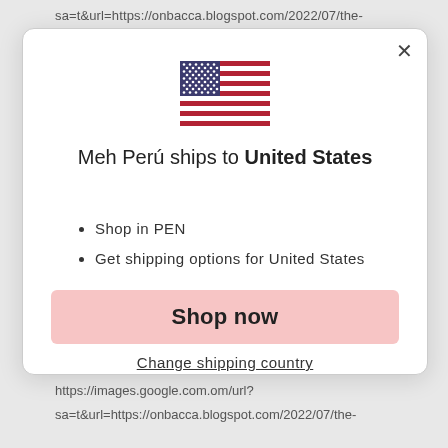sa=t&url=https://onbacca.blogspot.com/2022/07/the-
[Figure (illustration): US flag emoji/icon]
Meh Perú ships to United States
Shop in PEN
Get shipping options for United States
Shop now
Change shipping country
https://images.google.com.om/url?
sa=t&url=https://onbacca.blogspot.com/2022/07/the-